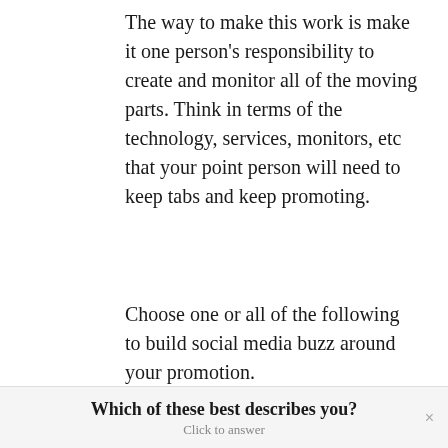The way to make this work is make it one person's responsibility to create and monitor all of the moving parts. Think in terms of the technology, services, monitors, etc that your point person will need to keep tabs and keep promoting.
Choose one or all of the following to build social media buzz around your promotion.
Create logo for your theme! – a simple visual to use in all of your
Which of these best describes you?
Click to answer